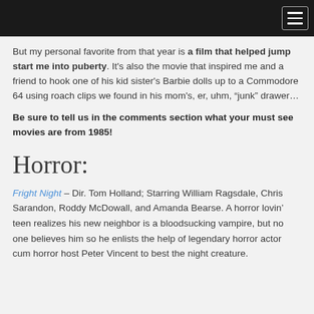But my personal favorite from that year is a film that helped jump start me into puberty. It's also the movie that inspired me and a friend to hook one of his kid sister's Barbie dolls up to a Commodore 64 using roach clips we found in his mom's, er, uhm, “junk” drawer…
Be sure to tell us in the comments section what your must see movies are from 1985!
Horror:
Fright Night – Dir. Tom Holland; Starring William Ragsdale, Chris Sarandon, Roddy McDowall, and Amanda Bearse. A horror lovin’ teen realizes his new neighbor is a bloodsucking vampire, but no one believes him so he enlists the help of legendary horror actor cum horror host Peter Vincent to best the night creature.